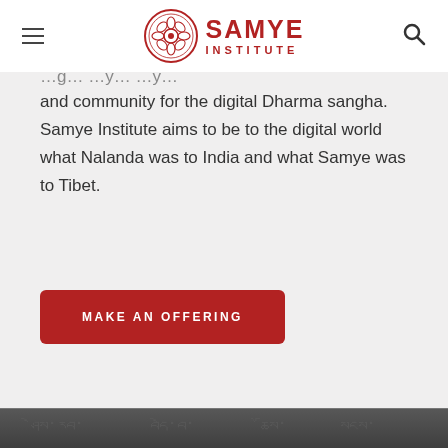SAMYE INSTITUTE
and community for the digital Dharma sangha. Samye Institute aims to be to the digital world what Nalanda was to India and what Samye was to Tibet.
MAKE AN OFFERING
[Figure (photo): Dark background image at the bottom of the page showing what appears to be carved or printed text/script]